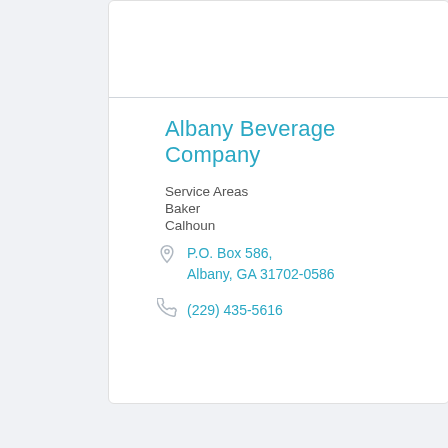Albany Beverage Company
Service Areas
Baker
Calhoun
P.O. Box 586, Albany, GA 31702-0586
(229) 435-5616
Albany